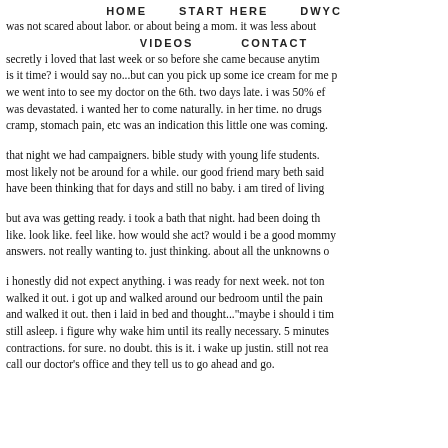HOME   START HERE   DWYC
was not scared about labor. or about being a mom. it was less about
VIDEOS   CONTACT
secretly i loved that last week or so before she came because anytime is it time? i would say no...but can you pick up some ice cream for me p we went into to see my doctor on the 6th. two days late. i was 50% eff was devastated. i wanted her to come naturally. in her time. no drugs cramp, stomach pain, etc was an indication this little one was coming.
that night we had campaigners. bible study with young life students. most likely not be around for a while. our good friend mary beth said have been thinking that for days and still no baby. i am tired of living
but ava was getting ready. i took a bath that night. had been doing th like. look like. feel like. how would she act? would i be a good mommy answers. not really wanting to. just thinking. about all the unknowns o
i honestly did not expect anything. i was ready for next week. not ton walked it out. i got up and walked around our bedroom until the pain and walked it out. then i laid in bed and thought..."maybe i should i tim still asleep. i figure why wake him until its really necessary. 5 minutes contractions. for sure. no doubt. this is it. i wake up justin. still not rea call our doctor's office and they tell us to go ahead and go.